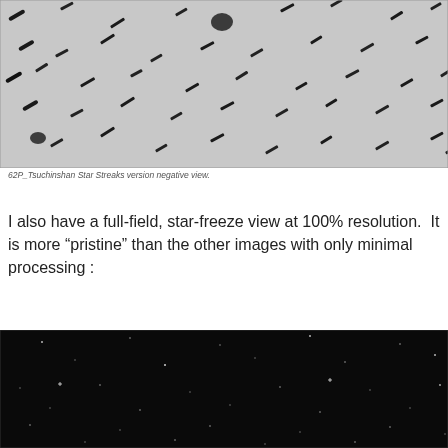[Figure (photo): Astronomical negative image showing star streaks (elongated black marks) of comet 62P Tsuchinshan on a grey grainy background. A dark fuzzy blob (the comet or galaxy) is visible near the top center.]
62P_Tsuchinshan Star Streaks version negative view.
I also have a full-field, star-freeze view at 100% resolution. It is more "pristine" than the other images with only minimal processing :
[Figure (photo): Astronomical image showing a dark star field with small white point-like stars scattered across a nearly black background — full-field star-freeze view at 100% resolution with minimal processing.]